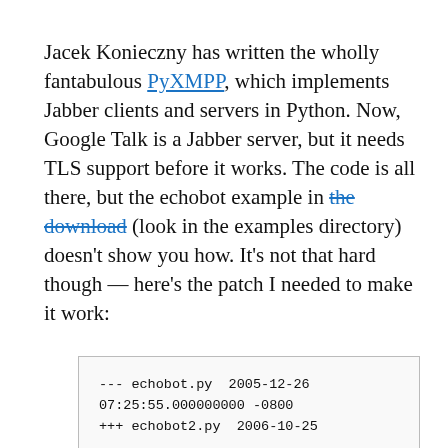Jacek Konieczny has written the wholly fantabulous PyXMPP, which implements Jabber clients and servers in Python. Now, Google Talk is a Jabber server, but it needs TLS support before it works. The code is all there, but the echobot example in the download (look in the examples directory) doesn't show you how. It's not that hard though — here's the patch I needed to make it work:
--- echobot.py  2005-12-26 07:25:55.000000000 -0800
+++ echobot2.py  2006-10-25